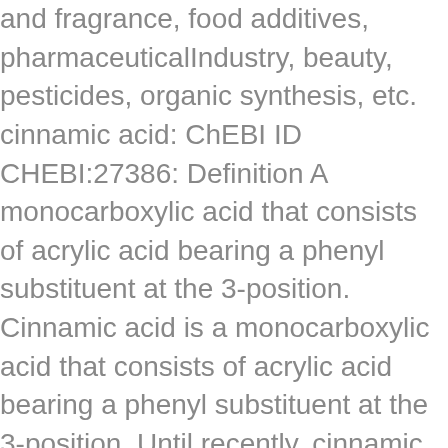and fragrance, food additives, pharmaceuticalIndustry, beauty, pesticides, organic synthesis, etc. cinnamic acid: ChEBI ID CHEBI:27386: Definition A monocarboxylic acid that consists of acrylic acid bearing a phenyl substituent at the 3-position. Cinnamic acid is a monocarboxylic acid that consists of acrylic acid bearing a phenyl substituent at the 3-position. Until recently, cinnamic acid was used in the production of methyl, ethyl, and benzyl esters which are crucial aspects in the making of perfumes. It can be used as apple flavor, cherry flavor, fruit flavor, and floral flavor. Cinnamic acid. Cinnamic acid is a white crystalline hydroxycinnamic acid, which is slightly soluble in water. In particular, 4-hydroxycinnamic acid, which ... In the pharmaceutical industry, it is used in the synthesis of important drugs for the treatment of coronary heart disease. All trademarks, registered trademarks and servicemarks mentioned on this site are the property of